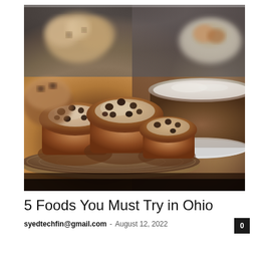[Figure (photo): Close-up photo of baked goods on a tiered stand — chocolate chip muffins dusted with powdered sugar in the foreground, cream puffs and other pastries in the background, a round cake dusted with powdered sugar on the right]
5 Foods You Must Try in Ohio
syedtechfin@gmail.com - August 12, 2022